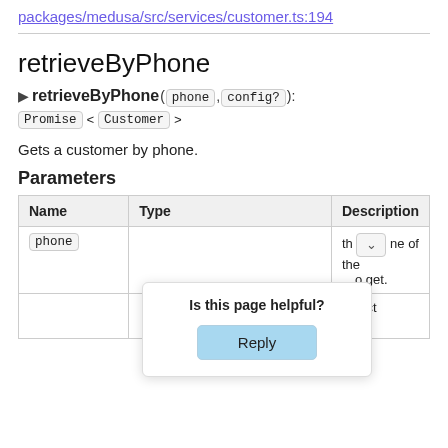packages/medusa/src/services/customer.ts:194
retrieveByPhone
▶ retrieveByPhone(phone, config?): Promise<Customer>
Gets a customer by phone.
Parameters
| Name | Type | Description |
| --- | --- | --- |
| phone |  | th [dropdown] ne of the ...o get. |
|  |  | object |
Is this page helpful? Reply